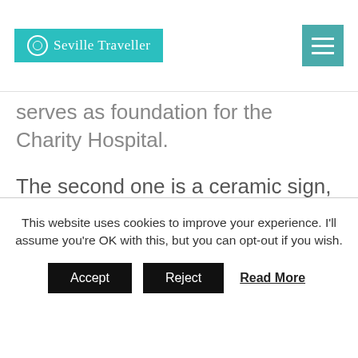Seville Traveller
serves as foundation for the Charity Hospital.
The second one is a ceramic sign, precisely at the arch (leave the well behind you). It clearly indicates the date of the atarazanas construction and its use as a foundation.
This website uses cookies to improve your experience. I'll assume you're OK with this, but you can opt-out if you wish.